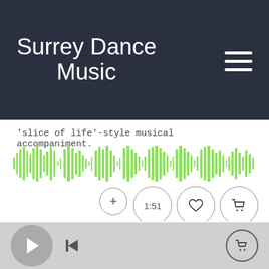Surrey Dance Music
'slice of life'-style musical accompaniment.
[Figure (other): Green audio waveform visualization]
1:51 ♡ 🛒 +
Fuzzy Peg    11 mixes
Steady trumpet-led Dixie jazz from seven-piece combo. Easy-going, happy-go-lucky, jaunty, carefree and quirky.
▶ |◀ 🛒